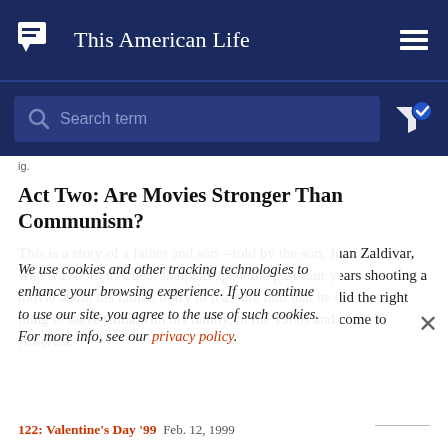This American Life
Search term
ig.
Act Two: Are Movies Stronger Than Communism?
This is a story of a father and son—told by the son, Juan Zaldivar, who was born in Cuba. Juan has spent the past four years shooting a movie about his father, to try to reassure him that he did the right thing to leave Cuba with his family, in the 1980s and come to America.
We use cookies and other tracking technologies to enhance your browsing experience. If you continue to use our site, you agree to the use of such cookies. For more info, see our privacy policy.
122: Valentine's Day '99  Feb. 12, 1999